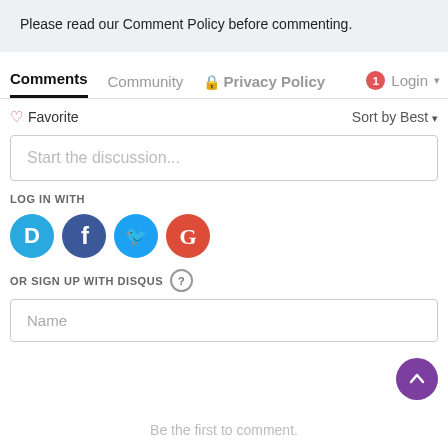Please read our Comment Policy before commenting.
Comments  Community  🔒 Privacy Policy  1  Login
♡ Favorite    Sort by Best
Start the discussion...
LOG IN WITH
[Figure (infographic): Social login icons: Disqus (blue circle with D), Facebook (dark blue with f), Twitter (light blue with bird), Google (red with G)]
OR SIGN UP WITH DISQUS ?
Name
Be the first to comment.